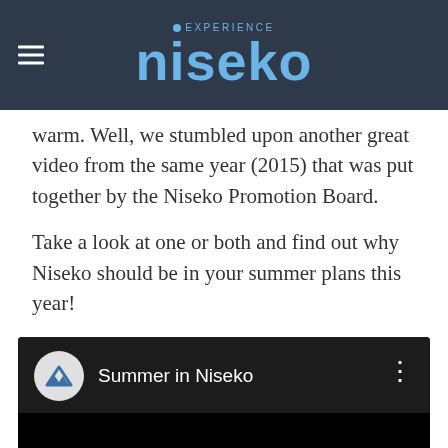EXPERIENCE niseko
warm. Well, we stumbled upon another great video from the same year (2015) that was put together by the Niseko Promotion Board.
Take a look at one or both and find out why Niseko should be in your summer plans this year!
[Figure (screenshot): Embedded YouTube video player with dark background showing 'Summer in Niseko' channel with mountain logo icon and three-dot menu.]